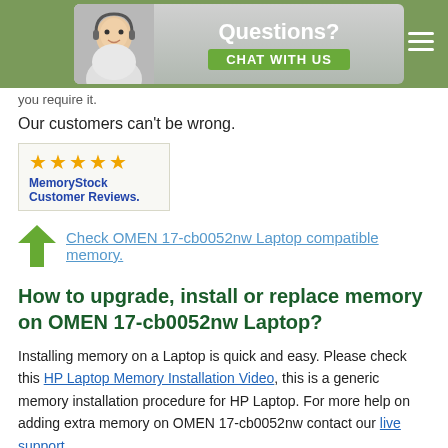Questions? CHAT WITH US
you require it.
Our customers can't be wrong.
[Figure (other): MemoryStock Customer Reviews badge with 5 gold stars]
Check OMEN 17-cb0052nw Laptop compatible memory.
How to upgrade, install or replace memory on OMEN 17-cb0052nw Laptop?
Installing memory on a Laptop is quick and easy. Please check this HP Laptop Memory Installation Video, this is a generic memory installation procedure for HP Laptop. For more help on adding extra memory on OMEN 17-cb0052nw contact our live support.
[Figure (photo): Photo showing hands installing memory in a laptop]